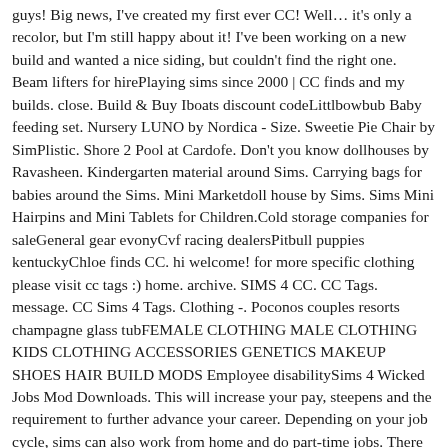guys! Big news, I've created my first ever CC! Well… it's only a recolor, but I'm still happy about it! I've been working on a new build and wanted a nice siding, but couldn't find the right one. Beam lifters for hirePlaying sims since 2000 | CC finds and my builds. close. Build & Buy Iboats discount codeLittlbowbub Baby feeding set. Nursery LUNO by Nordica - Size. Sweetie Pie Chair by SimPlistic. Shore 2 Pool at Cardofe. Don't you know dollhouses by Ravasheen. Kindergarten material around Sims. Carrying bags for babies around the Sims. Mini Marketdoll house by Sims. Sims Mini Hairpins and Mini Tablets for Children.Cold storage companies for saleGeneral gear evonyCvf racing dealersPitbull puppies kentuckyChloe finds CC. hi welcome! for more specific clothing please visit cc tags :) home. archive. SIMS 4 CC. CC Tags. message. CC Sims 4 Tags. Clothing -. Poconos couples resorts champagne glass tubFEMALE CLOTHING MALE CLOTHING KIDS CLOTHING ACCESSORIES GENETICS MAKEUP SHOES HAIR BUILD MODS Employee disabilitySims 4 Wicked Jobs Mod Downloads. This will increase your pay, steepens and the requirement to further advance your career. Depending on your job cycle, sims can also work from home and do part-time jobs. There are 30+ career available in the sims 4 build game and other expansion packs. Here is the list of 20 best Sims 4 Mods 2020: Sims 4 Mods.Pbr kansas 2024 rankingsTHE SIMS 4 CC - Hogwarts House Banner Curtains. PETS NEEDED. All swatches are shown above. DO NOT RE-